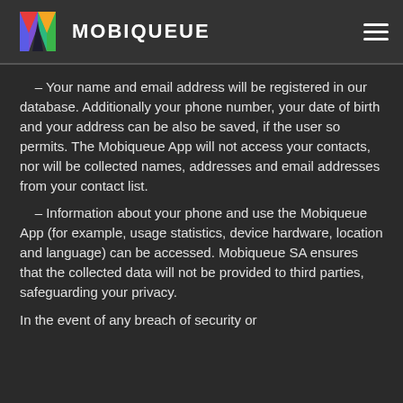MOBIQUEUE
– Your name and email address will be registered in our database. Additionally your phone number, your date of birth and your address can be also be saved, if the user so permits. The Mobiqueue App will not access your contacts, nor will be collected names, addresses and email addresses from your contact list.
– Information about your phone and use the Mobiqueue App (for example, usage statistics, device hardware, location and language) can be accessed. Mobiqueue SA ensures that the collected data will not be provided to third parties, safeguarding your privacy.
In the event of any breach of security or